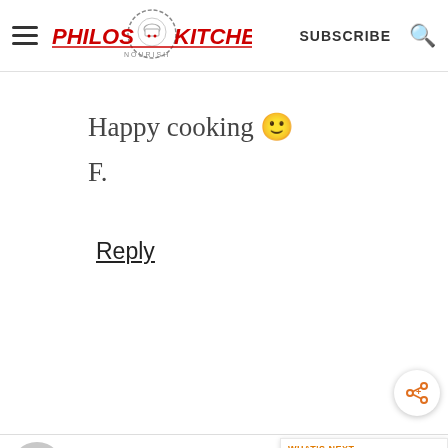Philos Kitchen — SUBSCRIBE
Happy cooking 🙂
F.
Reply
[Figure (screenshot): Share button icon — circular white button with share/add icon in orange]
Marnie Devereux says
[Figure (infographic): What's Next panel showing HOMEMADE TORTELLINI... with food thumbnail]
[Figure (infographic): Advertisement bar: TOP BRANDS & UNIQUE FINDS — Daily deals up to 70% off — Zulily]